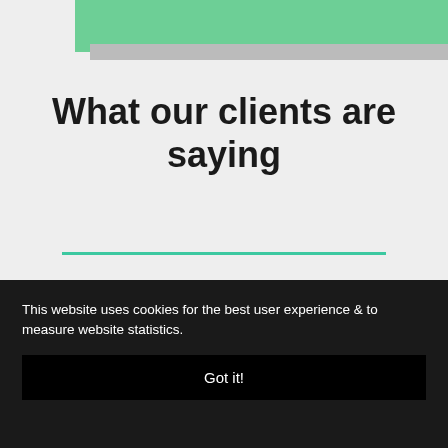[Figure (illustration): Green rectangle and gray rectangle forming a partial banner at the top of the page]
What our clients are saying
[Figure (other): Teal horizontal divider line]
[Figure (other): White card/panel area partially visible]
This website uses cookies for the best user experience & to measure website statistics.
Got it!